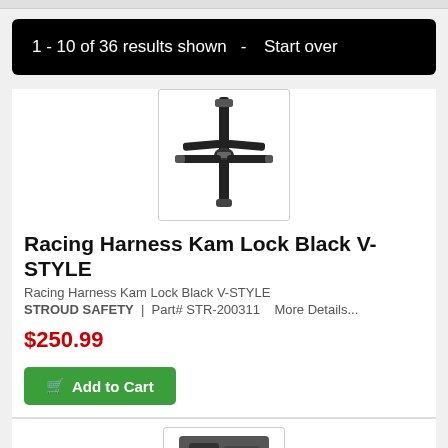1 - 10 of 36 results shown  -  Start over
[Figure (photo): Racing harness with Kam Lock mechanism, black, V-STYLE configuration shown from above]
Racing Harness Kam Lock Black V-STYLE
Racing Harness Kam Lock Black V-STYLE
STROUD SAFETY  |  Part# STR-200311   More Details...
$250.99
Add to Cart
[Figure (photo): Partial view of second racing product at bottom of page]